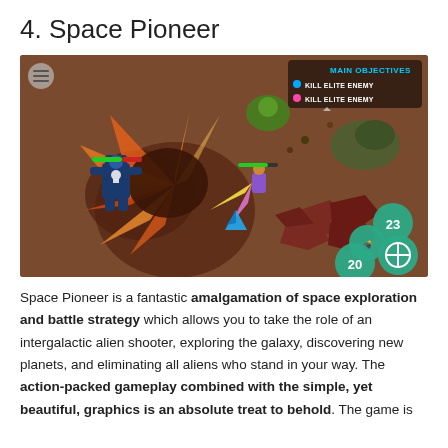4. Space Pioneer
[Figure (screenshot): Screenshot of Space Pioneer mobile game showing top-down action gameplay with a robot character fighting enemies on a brown alien planet surface. HUD shows 'MAIN OBJECTIVES: KILL ELITE ENEMY' in top right, health bars, and action buttons (grenade count 23, ammo 20, crosshair icon) in bottom right.]
Space Pioneer is a fantastic amalgamation of space exploration and battle strategy which allows you to take the role of an intergalactic alien shooter, exploring the galaxy, discovering new planets, and eliminating all aliens who stand in your way. The action-packed gameplay combined with the simple, yet beautiful, graphics is an absolute treat to behold. The game is